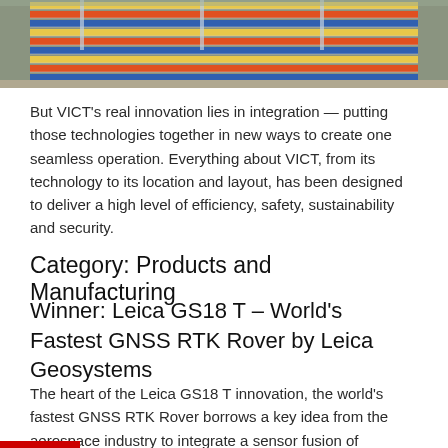[Figure (photo): Aerial view of a container terminal with rows of colorful shipping containers and cranes.]
But VICT's real innovation lies in integration — putting those technologies together in new ways to create one seamless operation. Everything about VICT, from its technology to its location and layout, has been designed to deliver a high level of efficiency, safety, sustainability and security.
Category: Products and Manufacturing
Winner: Leica GS18 T – World's Fastest GNSS RTK Rover by Leica Geosystems
The heart of the Leica GS18 T innovation, the world's fastest GNSS RTK Rover borrows a key idea from the aerospace industry to integrate a sensor fusion of